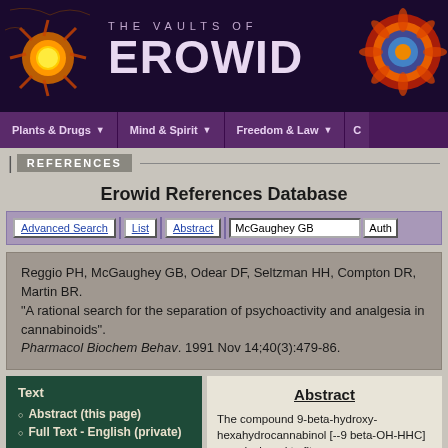[Figure (logo): The Vaults of Erowid website header banner with sun logo on left, Erowid text in center, mandala on right, dark purple background]
Plants & Drugs | Mind & Spirit | Freedom & Law
REFERENCES
Erowid References Database
Advanced Search | List | Abstract | McGaughey GB | Auth
Reggio PH, McGaughey GB, Odear DF, Seltzman HH, Compton DR, Martin BR. "A rational search for the separation of psychoactivity and analgesia in cannabinoids". Pharmacol Biochem Behav. 1991 Nov 14;40(3):479-86.
Abstract (this page)
Full Text - English (private)
Show Articles by
Abstract
The compound 9-beta-hydroxy-hexahydrocannabinol [--9 beta-OH-HHC] was designed to fit a